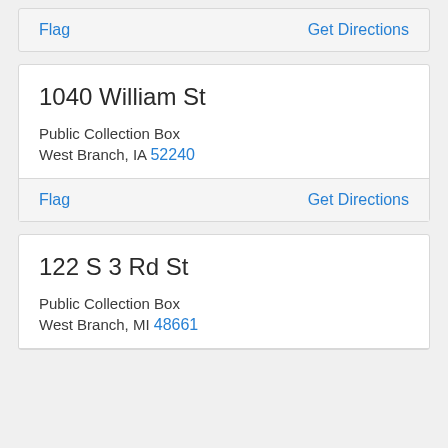Flag | Get Directions
1040 William St
Public Collection Box
West Branch, IA 52240
Flag | Get Directions
122 S 3 Rd St
Public Collection Box
West Branch, MI 48661